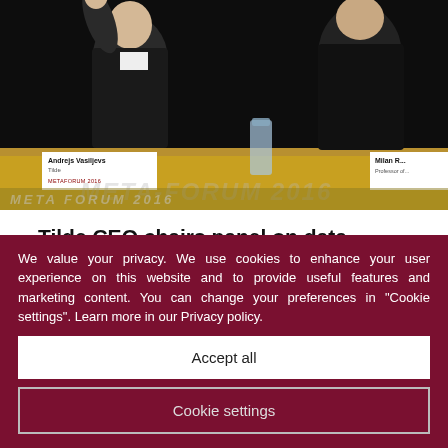[Figure (photo): Conference photo showing two men seated at a panel table at META-FORUM 2016. Name plates visible for Andrejs Vasiljevs (Tilde) and Milan (partially visible). The META-FORUM 2016 watermark/signage visible in the background.]
Tilde CEO chairs panel on data economy at META-FORUM in Portugal
06.07.2016
At the META-FORUM in Lisbon, Portugal, Tilde's CEO Andrejs Vasiljevs chaired a session on the data economy
We value your privacy. We use cookies to enhance your user experience on this website and to provide useful features and marketing content. You can change your preferences in “Cookie settings”. Learn more in our Privacy policy.
Accept all
Cookie settings